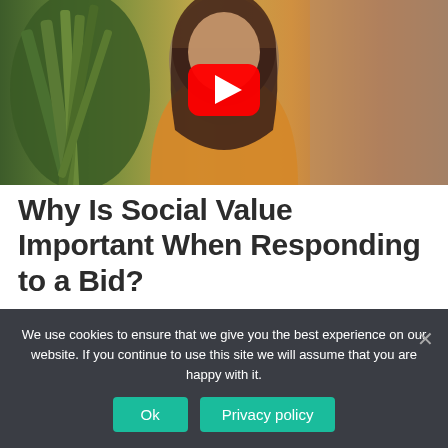[Figure (screenshot): Video thumbnail showing a woman in a yellow/orange sweater sitting in front of a plant and beige wall, with a YouTube play button overlay in the center]
Why Is Social Value Important When Responding to a Bid?
Find out more about why social value is so important when responding to a bid in this vlog from our Senior Plan Manager, Meg.
We use cookies to ensure that we give you the best experience on our website. If you continue to use this site we will assume that you are happy with it.
Ok   Privacy policy